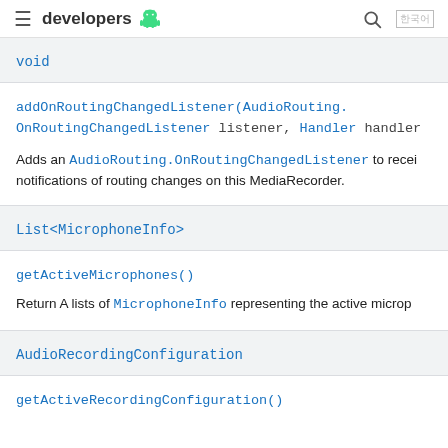≡ developers [android] 🔍 🌐
void
addOnRoutingChangedListener(AudioRouting.OnRoutingChangedListener listener, Handler handler
Adds an AudioRouting.OnRoutingChangedListener to receive notifications of routing changes on this MediaRecorder.
List<MicrophoneInfo>
getActiveMicrophones()
Return A lists of MicrophoneInfo representing the active microp
AudioRecordingConfiguration
getActiveRecordingConfiguration()